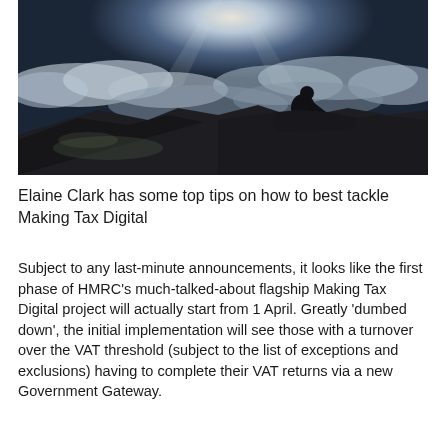[Figure (photo): A person sitting on a rocky mountain top above the clouds, with a bright light source behind them illuminating a dramatic twilight sky.]
Elaine Clark has some top tips on how to best tackle Making Tax Digital
Subject to any last-minute announcements, it looks like the first phase of HMRC's much-talked-about flagship Making Tax Digital project will actually start from 1 April. Greatly 'dumbed down', the initial implementation will see those with a turnover over the VAT threshold (subject to the list of exceptions and exclusions) having to complete their VAT returns via a new Government Gateway.